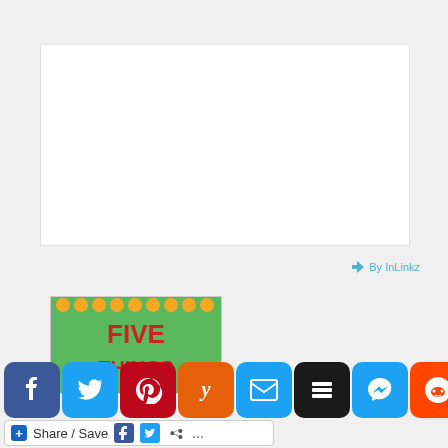[Figure (screenshot): Large white rectangular content area (blog/article image placeholder)]
By InLinkz
[Figure (illustration): Green card with gold coins border showing text FIVE THINGS with red lettering on green background]
[Figure (screenshot): Row of social media share buttons: Facebook, Twitter, Pinterest, Yummly, Email, Buffer, Messenger, Reddit]
[Figure (screenshot): Share / Save bar with plus icon, Facebook, Twitter, share, and more (...) buttons]